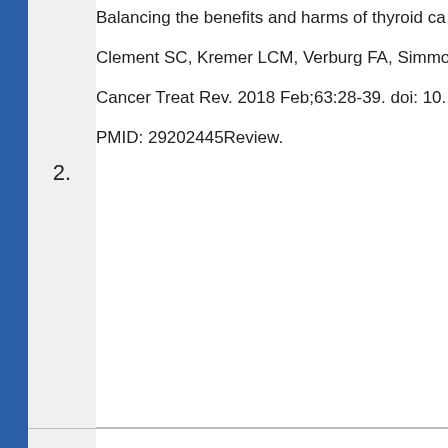2. Balancing the benefits and harms of thyroid ca...
Clement SC, Kremer LCM, Verburg FA, Simmo...
Cancer Treat Rev. 2018 Feb;63:28-39. doi: 10....
PMID: 29202445Review.
3. The PanCareSurFup consortium: research and...
Byrne J, Alessi D, Allodji RS, Bagnasco F, Bárd...
Eur J Cancer. 2018 Nov;103:238-248. doi: 10.1...
PMID: 30286417
Recommendations for gonadotoxicity surveillan...
Skinner R, Mulder RL, Kremer LC, Hudson MM...